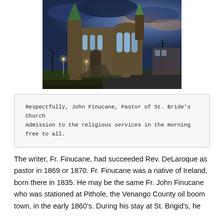[Figure (photo): Exterior night/dusk HDR photograph of a large Gothic stone church building with spires and large arched windows, bare trees visible, dramatic blue sky]
Respectfully, John Finucane, Pastor of St. Bride's Church
Admission to the religious services in the morning free to all.
The writer, Fr. Finucane, had succeeded Rev. DeLaroque as pastor in 1869 or 1870. Fr. Finucane was a native of Ireland, born there in 1835. He may be the same Fr. John Finucane who was stationed at Pithole, the Venango County oil boom town, in the early 1860's. During his stay at St. Brigid's, he